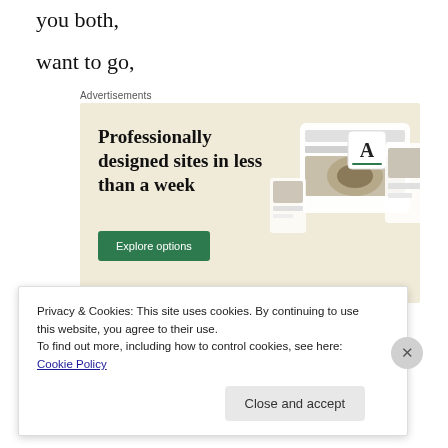you both,
want to go,
[Figure (screenshot): Advertisement banner for a web design service. Beige/cream background with bold serif headline 'Professionally designed sites in less than a week', a green 'Explore options' button, and mockup screenshots of websites on the right side.]
Privacy & Cookies: This site uses cookies. By continuing to use this website, you agree to their use.
To find out more, including how to control cookies, see here: Cookie Policy